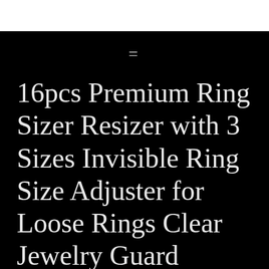=
16pcs Premium Ring Sizer Resizer with 3 Sizes Invisible Ring Size Adjuster for Loose Rings Clear Jewelry Guard Spacers Fittter Fit Almost Any Rings